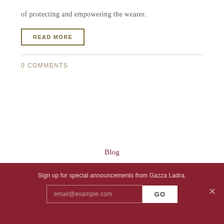of protecting and empowering the wearer.
READ MORE
0 COMMENTS
Blog
Terms of Use
Returns Policy
Sign up for special announcements from Gazza Ladra.